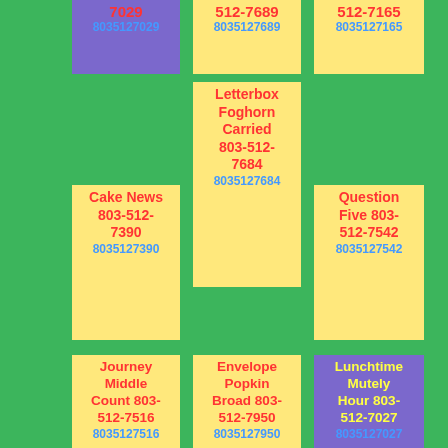7029 8035127029
512-7689 8035127689
512-7165 8035127165
Letterbox Foghorn Carried 803-512-7684 8035127684
Cake News 803-512-7390 8035127390
Question Five 803-512-7542 8035127542
Journey Middle Count 803-512-7516 8035127516
Envelope Popkin Broad 803-512-7950 8035127950
Lunchtime Mutely Hour 803-512-7027 8035127027
Greatest Glumly 803-512-7608 8035127608
Laden Pause 803-512-7889 8035127889
Quills 803-512-7157 8035127157